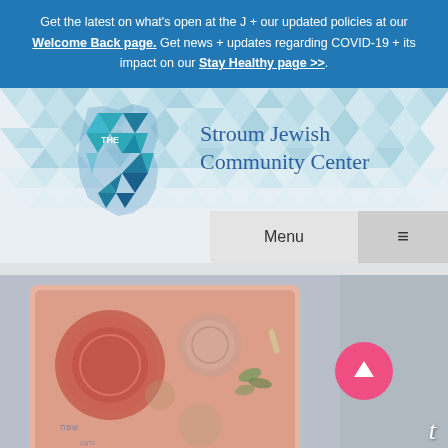Get the latest on what's open at the J + our updated policies at our Welcome Back page. Get news + updates regarding COVID-19 + its impact on our Stay Healthy page >>.
[Figure (logo): The J Stroum Jewish Community Center logo with geometric teal/blue J shape and text]
Menu
[Figure (photo): A ceramic seder plate with colorful glazed decorations in pink, teal, and other colors, with 'Passover' text overlay and pink circle with up arrow]